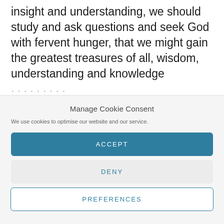insight and understanding, we should study and ask questions and seek God with fervent hunger, that we might gain the greatest treasures of all, wisdom, understanding and knowledge
...
Manage Cookie Consent
We use cookies to optimise our website and our service.
ACCEPT
DENY
PREFERENCES